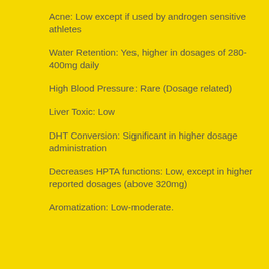Acne: Low except if used by androgen sensitive athletes
Water Retention: Yes, higher in dosages of 280-400mg daily
High Blood Pressure: Rare (Dosage related)
Liver Toxic: Low
DHT Conversion: Significant in higher dosage administration
Decreases HPTA functions: Low, except in higher reported dosages (above 320mg)
Aromatization: Low-moderate.